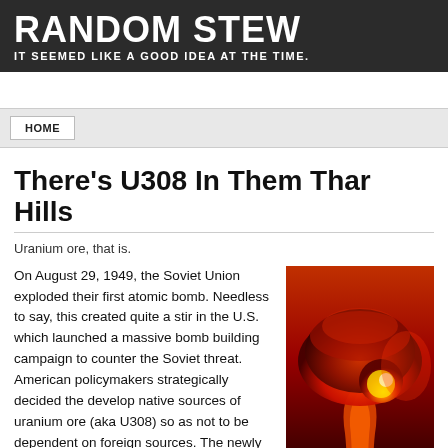RANDOM STEW
IT SEEMED LIKE A GOOD IDEA AT THE TIME.
There's U308 In Them Thar Hills
Uranium ore, that is.
[Figure (photo): Atomic bomb explosion mushroom cloud, red and orange tones]
On August 29, 1949, the Soviet Union exploded their first atomic bomb. Needless to say, this created quite a stir in the U.S. which launched a massive bomb building campaign to counter the Soviet threat. American policymakers strategically decided the develop native sources of uranium ore (aka U308) so as not to be dependent on foreign sources. The newly created Atomic Energy Commission (AEC) was designated as the only legal buyer of the ore. For several years, the AEC had already been paying top dollar for the ore, touting it as the energy source of the future. AEC chairman, David Lilienthal, crossed the country telling audiences that a uranium pellet the size of a peanut contained the energy of a ton of coal; holding up a lump of coal, he would tell his audience